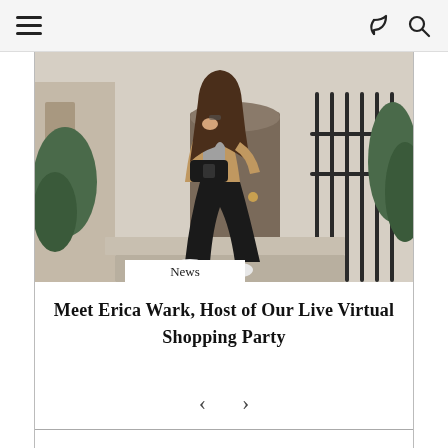Navigation bar with hamburger menu, share icon, and search icon
[Figure (photo): Woman with long brown hair sitting on stone steps in front of a door with black iron railing, wearing a tan blazer, grey top, black leggings, white sneakers, and a black fanny pack crossbody bag. Evergreen shrubs visible in background.]
News
Meet Erica Wark, Host of Our Live Virtual Shopping Party
< >